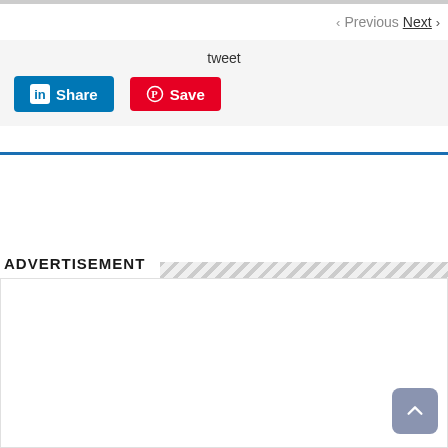Previous  Next
tweet
[Figure (other): LinkedIn Share button (blue) and Pinterest Save button (red)]
ADVERTISEMENT
[Figure (other): Advertisement placeholder area (empty white box)]